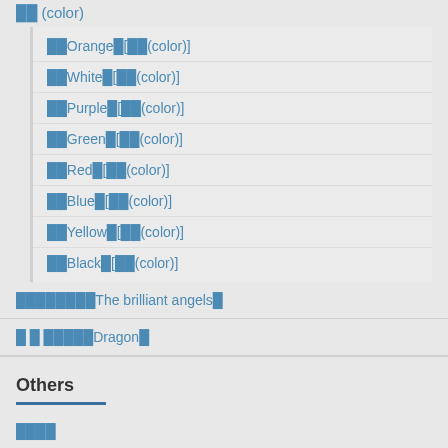██ (color)
██Orange█[██(color)]
██White█[██(color)]
██Purple█[██(color)]
██Green█[██(color)]
██Red█[██(color)]
██Blue█[██(color)]
██Yellow█[██(color)]
██Black█[██(color)]
████████The brilliant angels█
█ █ █████Dragon█
Others
████